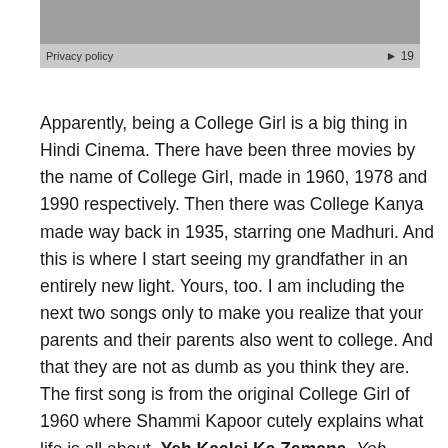[Figure (screenshot): A gray video/audio player thumbnail with a play button arrow and the number 19. Below it is a 'Privacy policy' label on a lighter gray bar.]
Apparently, being a College Girl is a big thing in Hindi Cinema. There have been three movies by the name of College Girl, made in 1960, 1978 and 1990 respectively. Then there was College Kanya made way back in 1935, starring one Madhuri. And this is where I start seeing my grandfather in an entirely new light. Yours, too. I am including the next two songs only to make you realize that your parents and their parents also went to college. And that they are not as dumb as you think they are. The first song is from the original College Girl of 1960 where Shammi Kapoor cutely explains what life is all about. Yeh Kaalej Ka Zamana. Yeh hasna hasana. Yeh banna banana. Yeh din zindagi ke. Ajab bekhudi ke… Subah sabere cycle ki kataren. Gunchon ki aur kaliyon ki